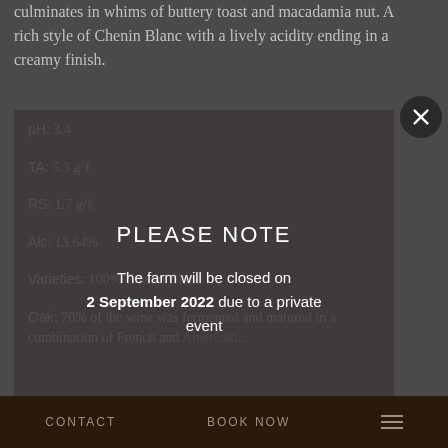culminates in whims of buttery toast and macadamia nut. A rich style of Chenin Blanc with a lively acidity ending in a creamy finish.
pH: 3.4
TA: 5.3 g/ℓ
RS: 1.7 g/ℓ
Alc: 13.64%
Varieties: 100% Chenin Blanc
Oak: 70% of the wine was fermented and matured in a combination of French and American...
[Figure (screenshot): Modal dialog overlay with header PLEASE NOTE and message: The farm will be closed on 2 September 2022 due to a private event. Powered by Convert Plus footer. Close button (X) in top right corner.]
CONTACT    BOOK NOW    ≡